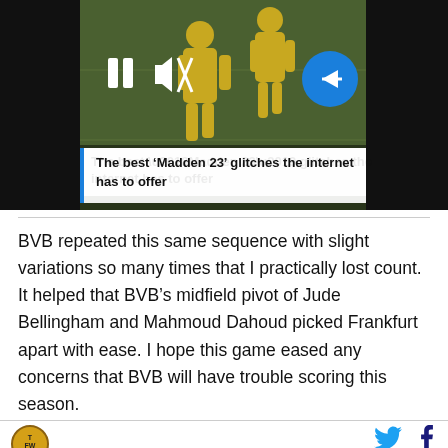[Figure (screenshot): Video player showing football players on a green field with pause button, mute button, and blue arrow navigation button overlay]
The best ‘Madden 23’ glitches the internet has to offer
BVB repeated this same sequence with slight variations so many times that I practically lost count. It helped that BVB’s midfield pivot of Jude Bellingham and Mahmoud Dahoud picked Frankfurt apart with ease. I hope this game eased any concerns that BVB will have trouble scoring this season.
[Figure (logo): Twisted Futbol / TFW circular logo with yellow/gold background]